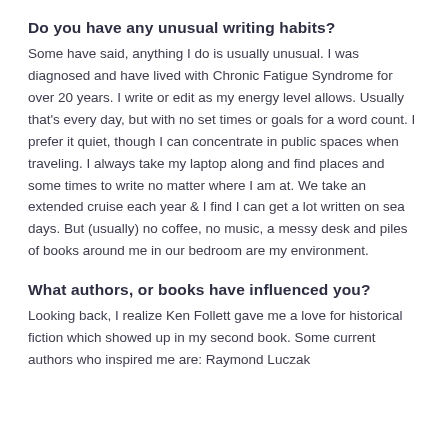Do you have any unusual writing habits?
Some have said, anything I do is usually unusual. I was diagnosed and have lived with Chronic Fatigue Syndrome for over 20 years. I write or edit as my energy level allows. Usually that's every day, but with no set times or goals for a word count. I prefer it quiet, though I can concentrate in public spaces when traveling. I always take my laptop along and find places and some times to write no matter where I am at. We take an extended cruise each year & I find I can get a lot written on sea days. But (usually) no coffee, no music, a messy desk and piles of books around me in our bedroom are my environment.
What authors, or books have influenced you?
Looking back, I realize Ken Follett gave me a love for historical fiction which showed up in my second book. Some current authors who inspired me are: Raymond Luczak